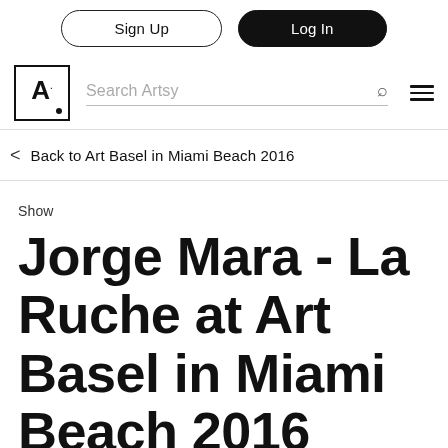Sign Up | Log In
[Figure (logo): Artsy logo: square with letter A and a dot, followed by a search bar with 'Search Artsy' placeholder, search icon, and hamburger menu icon]
< Back to Art Basel in Miami Beach 2016
Show
Jorge Mara - La Ruche at Art Basel in Miami Beach 2016
December 1 – December 4, 2016